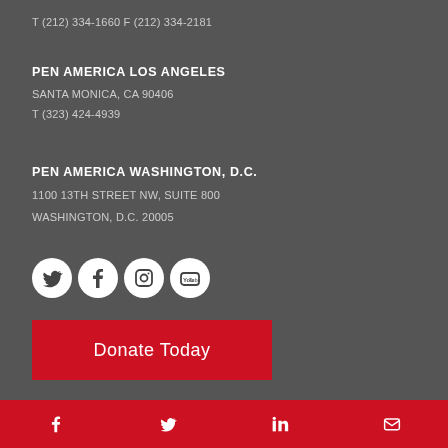T (212) 334-1660 F (212) 334-2181
PEN AMERICA LOS ANGELES
SANTA MONICA, CA 90406
T (323) 424-4939
PEN AMERICA WASHINGTON, D.C.
1100 13TH STREET NW, SUITE 800
WASHINGTON, D.C. 20005
[Figure (illustration): Four white circular social media icons: Twitter, Facebook, Instagram, YouTube]
[Figure (illustration): Red donate button reading Donate Today]
Footer bar with Facebook, Twitter, LinkedIn, and Email icons on red background